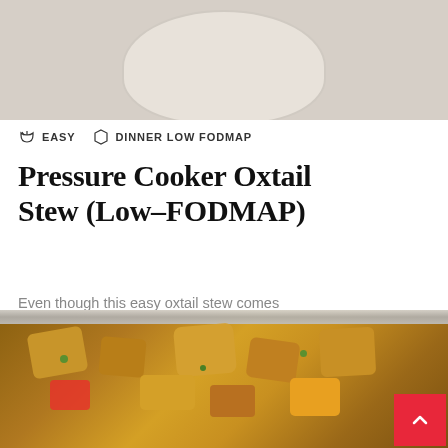[Figure (photo): Top portion of a white plate on a light textured background]
EASY   DINNER LOW FODMAP
Pressure Cooker Oxtail Stew (Low–FODMAP)
Even though this easy oxtail stew comes together really quickly in a pressure cooker, you'll love how hearty and comforting it is. Cooking with Oxtail Oxtail is full of conne
[Figure (photo): Baking tray with roasted potatoes, vegetables with bright yellow sauce and fresh herbs on foil]